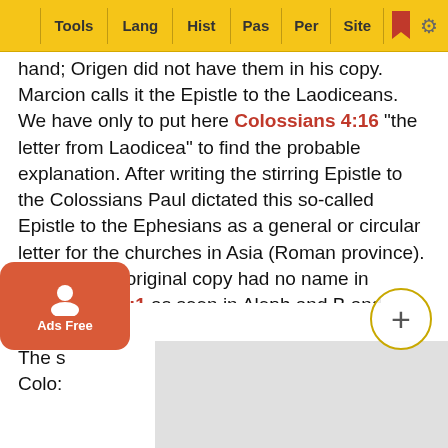Tools | Lang | Hist | Pas | Per | Site
hand; Origen did not have them in his copy. Marcion calls it the Epistle to the Laodiceans. We have only to put here Colossians 4:16 "the letter from Laodicea" to find the probable explanation. After writing the stirring Epistle to the Colossians Paul dictated this so-called Epistle to the Ephesians as a general or circular letter for the churches in Asia (Roman province). Perhaps the original copy had no name in Ephesians 1:1 as seen in Aleph and B and Origen, but only a blank space. Marcion was familiar with the copy in Laodicea. Basil in the fourth century mentions some MSS. with no name in the address. Most MSS. were copies from the one in Ephesus and so it came to be called the Epistle to the Ephesians. The general nature of the letter explains also the absence of names in it, though Paul lived three years in Ephesus.
E DATE
The s
Colo: